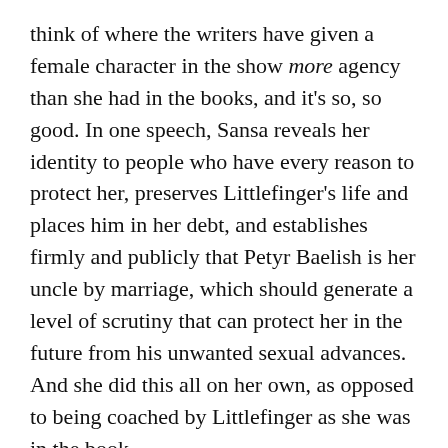think of where the writers have given a female character in the show more agency than she had in the books, and it's so, so good. In one speech, Sansa reveals her identity to people who have every reason to protect her, preserves Littlefinger's life and places him in her debt, and establishes firmly and publicly that Petyr Baelish is her uncle by marriage, which should generate a level of scrutiny that can protect her in the future from his unwanted sexual advances. And she did this all on her own, as opposed to being coached by Littlefinger as she was in the book.
After Sansa's scene, we learn that Littlefinger now intends to take Robin Arryn on a tour of the Vale.
Back in Meereen, Ser Barristan is overseeing the removal of the crucified Masters when he's approached by a boy with a message. It turns out to be a copy of Jorah's pardon from King Robert in